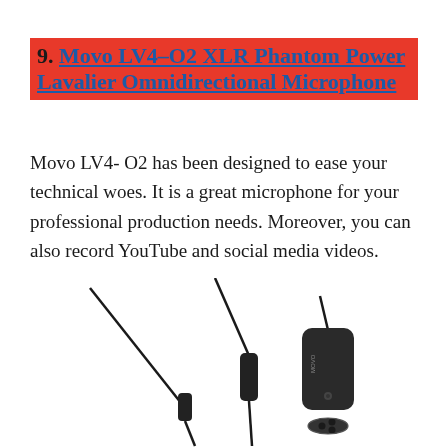9. Movo LV4-O2 XLR Phantom Power Lavalier Omnidirectional Microphone
Movo LV4- O2 has been designed to ease your technical woes. It is a great microphone for your professional production needs. Moreover, you can also record YouTube and social media videos.
[Figure (photo): Product photo of the Movo LV4-O2 XLR Phantom Power Lavalier Omnidirectional Microphone showing multiple components: two thin microphone cables/capsules and a larger XLR connector body, all in black, arranged diagonally on white background.]